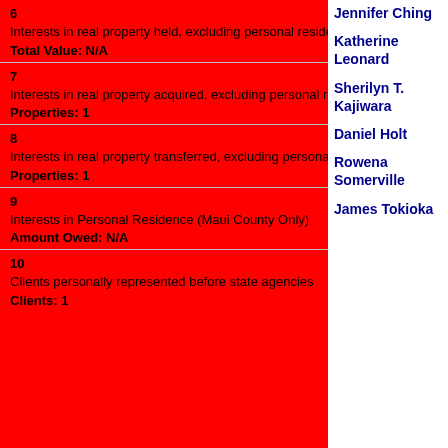6
Interests in real property held, excluding personal residence(s)
Total Value: N/A
7
Interests in real property acquired, excluding personal residence(s)
Properties: 1
8
Interests in real property transferred, excluding personal residence(s)
Properties: 1
9
Interests in Personal Residence (Maui County Only)
Amount Owed: N/A
10
Clients personally represented before state agencies
Clients: 1
Jennifer Ching
Katherine Leonard
Sherilyn T. Kajiwara
Daniel Holt
Rowena Somerville
James Tokioka